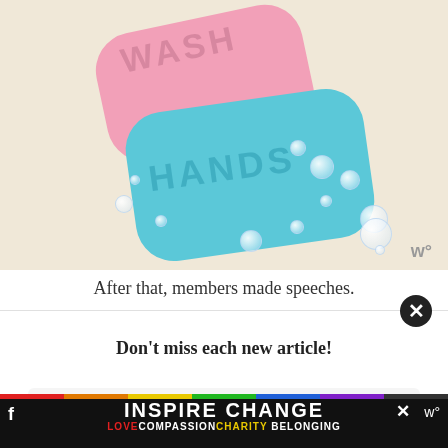[Figure (photo): Two bars of soap — a pink one with 'WASH' embossed on top and a teal/blue one with 'HANDS' embossed — surrounded by bubbles on a beige background. A small watermark logo appears in the bottom right.]
After that, members made speeches.
Don't miss each new article!
[Figure (screenshot): Email address input field partially visible (placeholder text 'Email Address')]
[Figure (infographic): Bottom banner ad: rainbow strip at top, black background, bold white text 'INSPIRE CHANGE' with colored subtext 'LOVE COMPASSION CHARITY BELONGING'. Facebook icon on left, close X button top right, small logo on right.]